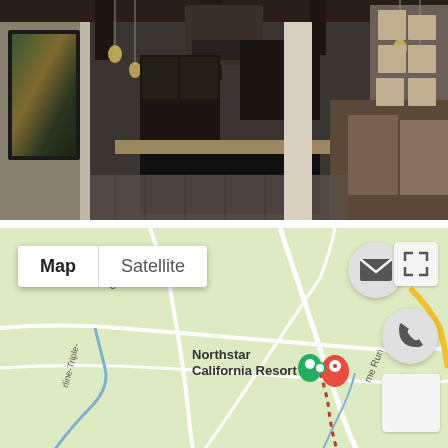[Figure (photo): Interior photo of a luxury kitchen with dark cabinetry, pendant lights, granite island countertop, stainless steel range hood, slate tile floors, wooden ceiling beams, and framed artwork on walls.]
[Figure (map): Google Maps view showing the area around Northstar California Resort with Map/Satellite toggle, location pins (green and red), dotted route path, labeled roads including Gateway and Home Run, and UI buttons for email, expand, phone, and another control on the right side.]